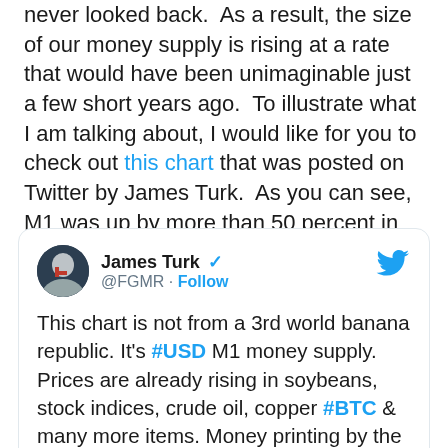never looked back.  As a result, the size of our money supply is rising at a rate that would have been unimaginable just a few short years ago.  To illustrate what I am talking about, I would like for you to check out this chart that was posted on Twitter by James Turk.  As you can see, M1 was up by more than 50 percent in 2020.
[Figure (screenshot): Embedded tweet from James Turk (@FGMR) with verified badge and Follow button. Tweet text: 'This chart is not from a 3rd world banana republic. It's #USD M1 money supply. Prices are already rising in soybeans, stock indices, crude oil, copper #BTC & many more items. Money printing by the #federalreserve means #inflation in 2021 is baked into the cake. Own physical']